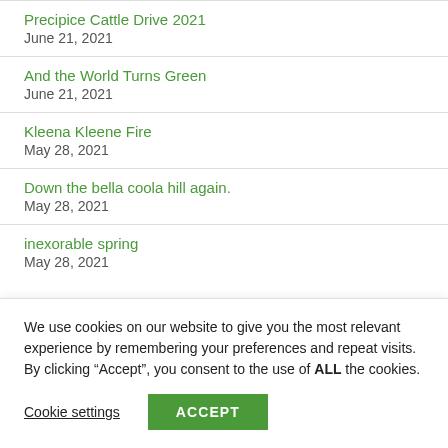Precipice Cattle Drive 2021
June 21, 2021
And the World Turns Green
June 21, 2021
Kleena Kleene Fire
May 28, 2021
Down the bella coola hill again.
May 28, 2021
inexorable spring
May 28, 2021
We use cookies on our website to give you the most relevant experience by remembering your preferences and repeat visits. By clicking “Accept”, you consent to the use of ALL the cookies.
Cookie settings  ACCEPT